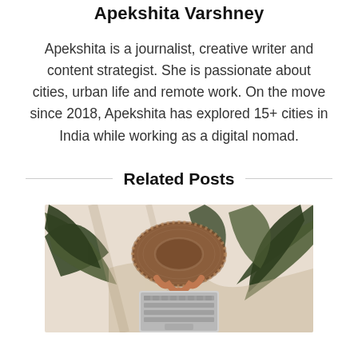Apekshita Varshney
Apekshita is a journalist, creative writer and content strategist. She is passionate about cities, urban life and remote work. On the move since 2018, Apekshita has explored 15+ cities in India while working as a digital nomad.
Related Posts
[Figure (photo): Overhead view of a person wearing a wide-brimmed hat sitting at a laptop on a light surface, surrounded by large tropical plant leaves with dramatic shadows.]